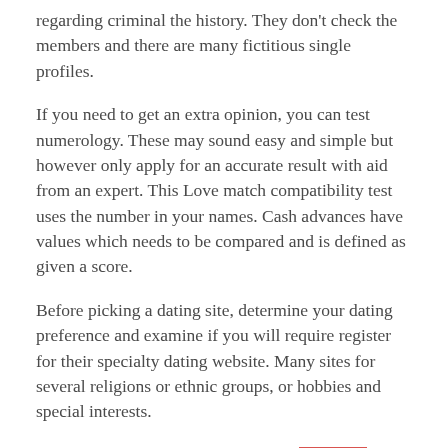regarding criminal the history. They don't check the members and there are many fictitious single profiles.
If you need to get an extra opinion, you can test numerology. These may sound easy and simple but however only apply for an accurate result with aid from an expert. This Love match compatibility test uses the number in your names. Cash advances have values which needs to be compared and is defined as given a score.
Before picking a dating site, determine your dating preference and examine if you will require register for their specialty dating website. Many sites for several religions or ethnic groups, or hobbies and special interests.
Both citizens are victims but women [???????] get hit the hardest. Online Dating does not work because most of the